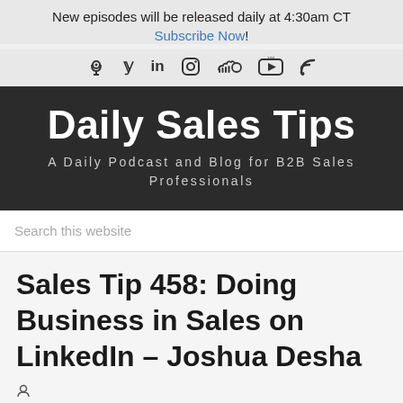New episodes will be released daily at 4:30am CT
Subscribe Now!
[Figure (other): Social media icons: podcast, twitter, linkedin, instagram, soundcloud, youtube, rss]
Daily Sales Tips
A Daily Podcast and Blog for B2B Sales Professionals
Search this website
Sales Tip 458: Doing Business in Sales on LinkedIn – Joshua Desha